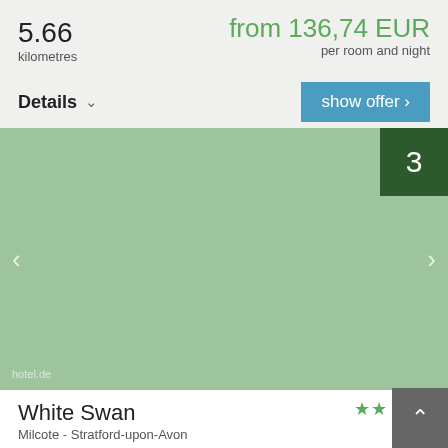5.66
kilometres
from 136,74 EUR
per room and night
Details
show offer >
[Figure (photo): Hotel image placeholder in sage green color with navigation arrows and number badge '3' in dark green]
hotel.de
White Swan
Milcote - Stratford-upon-Avon
★★